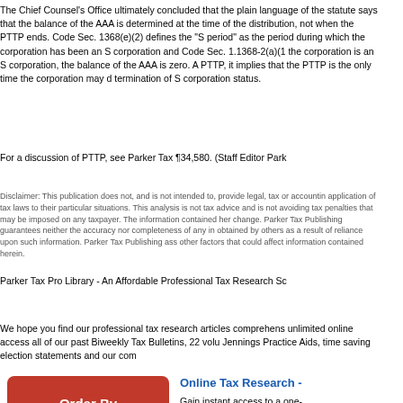The Chief Counsel's Office ultimately concluded that the plain language of the statute says that the balance of the AAA is determined at the time of the distribution, not when the PTTP ends. Code Sec. 1368(e)(2) defines the "S period" as the period during which the corporation has been an S corporation and Code Sec. 1.1368-2(a)(1) provides that, when the corporation is an S corporation, the balance of the AAA is zero. Although the regulations do not define PTTP, it implies that the PTTP is the only time the corporation may distribute AAA accumulated before termination of S corporation status.
For a discussion of PTTP, see Parker Tax ¶34,580. (Staff Editor Parker Tax Publishing)
Disclaimer: This publication does not, and is not intended to, provide legal, tax or accounting advice, and readers should consult their tax advisors concerning the application of tax laws to their particular situations. This analysis is not tax advice and is not intended or written to be used, and cannot be used, for purposes of avoiding tax penalties that may be imposed on any taxpayer. The information contained herein is general in nature and based on authorities that are subject to change. Parker Tax Publishing guarantees neither the accuracy nor completeness of any information published herein. For current information with respect to matters covered, please consult your accountant or the attorney to whom you normally look for advice on such matters. It is not our intention to create, and publication does not constitute creation of, an attorney-client relationship. The user of this service may not rely upon Parker Tax Publishing for any purpose for which you might seek the advice of attorneys, accountants, financial advisors, or other professionals and Parker Tax Publishing is not engaged in rendering legal, accounting or other professional advice or services and assumes no liability for any actions taken in reliance upon information obtained by others as a result of reliance upon such information. Parker Tax Publishing assumes no liability for errors or omissions. No claim to original U.S. Government works. Copyright © 2002-2022 Parker Tax Publishing. All Rights Reserved.
Parker Tax Pro Library - An Affordable Professional Tax Research Solution
We hope you find our professional tax research articles comprehensive and useful. The Parker Tax Pro Library gives you unlimited online access all of our past Biweekly Tax Bulletins, 22 volumes of expert analysis, 250 Client Letters, Bob Jennings Practice Aids, time saving election statements and our comprehensive, fully updated primary source library.
[Figure (other): Red rounded rectangle button with white bold text reading 'Order By Sent 9th']
Online Tax Research -
Gain instant access to a one-